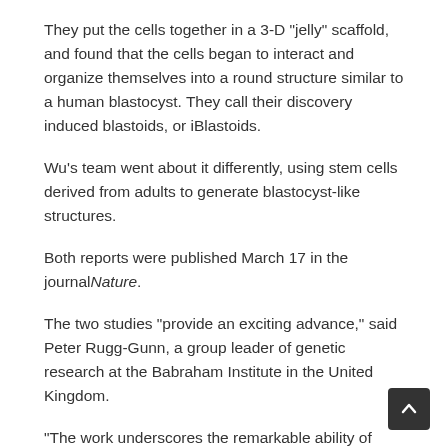They put the cells together in a 3-D "jelly" scaffold, and found that the cells began to interact and organize themselves into a round structure similar to a human blastocyst. They call their discovery induced blastoids, or iBlastoids.
Wu's team went about it differently, using stem cells derived from adults to generate blastocyst-like structures.
Both reports were published March 17 in the journal Nature.
The two studies "provide an exciting advance," said Peter Rugg-Gunn, a group leader of genetic research at the Babraham Institute in the United Kingdom.
"The work underscores the remarkable ability of cells to self-organize into complex structures," Rugg-Gunn said. "Impressively, even in these first experiments, defined